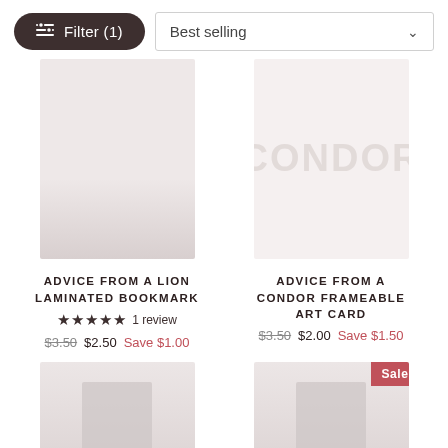Filter (1)
Best selling
[Figure (photo): Product image placeholder for Advice From A Lion Laminated Bookmark]
ADVICE FROM A LION LAMINATED BOOKMARK
★★★★★ 1 review
$3.50 $2.50 Save $1.00
[Figure (photo): Product image placeholder for Advice From A Condor Frameable Art Card with CONDOR text overlay]
ADVICE FROM A CONDOR FRAMEABLE ART CARD
$3.50 $2.00 Save $1.50
[Figure (photo): Product image placeholder bottom left]
Sale
[Figure (photo): Product image placeholder bottom right with Sale badge]